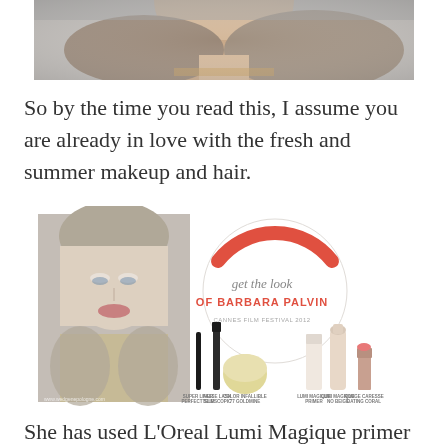[Figure (photo): Cropped top portion of a woman's face and upper body, grayscale/muted tones]
So by the time you read this, I assume you are already in love with the fresh and summer makeup and hair.
[Figure (infographic): Get the look of Barbara Palvin - Cannes Film Festival 2012 infographic showing makeup products: Super Liner Perfect Slim, False Lash Telescopic, Color Infallible 77 Goldmine, Lumi Magique Primer, Lumi Magique No Beige, Rouge Caresse Dating Coral. Left side shows a photo of Barbara Palvin. Center has a circular design with red arc on top.]
She has used L'Oreal Lumi Magique primer and